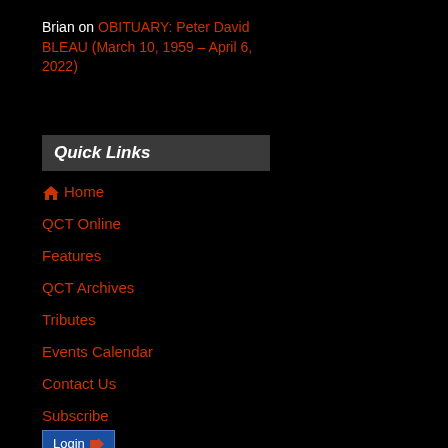Brian on OBITUARY: Peter David BLEAU (March 10, 1959 – April 6, 2022)
Quick Links
🏠 Home
QCT Online
Features
QCT Archives
Tributes
Events Calendar
Contact Us
Subscribe
Login